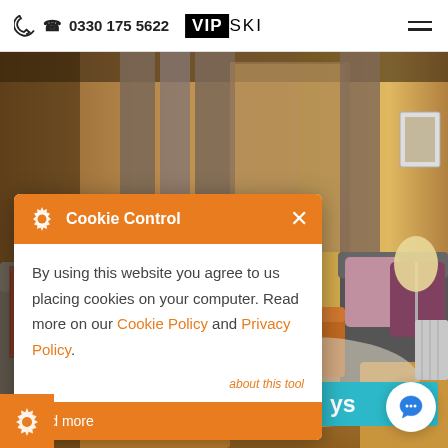0330 175 5622  VIP SKI
[Figure (photo): Interior of a ski chalet living room with wooden walls, grey sofas, pink/maroon cushions, a wooden coffee table, a floor lamp, and warm ambient lighting.]
Cookie Control
By using this website you agree to us placing cookies on your computer. Read more on our Cookie Policy and Privacy Policy.
about this tool
read more